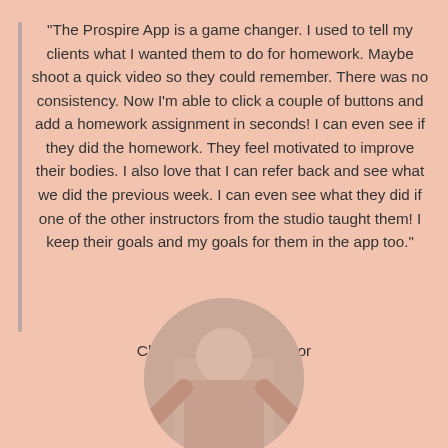"The Prospire App is a game changer. I used to tell my clients what I wanted them to do for homework. Maybe shoot a quick video so they could remember. There was no consistency. Now I'm able to click a couple of buttons and add a homework assignment in seconds! I can even see if they did the homework. They feel motivated to improve their bodies. I also love that I can refer back and see what we did the previous week. I can even see what they did if one of the other instructors from the studio taught them! I keep their goals and my goals for them in the app too."
Chrissy, Pilates Instructor
[Figure (photo): Circular cropped photo of a person (Chrissy, Pilates Instructor) partially visible at the bottom of the page]